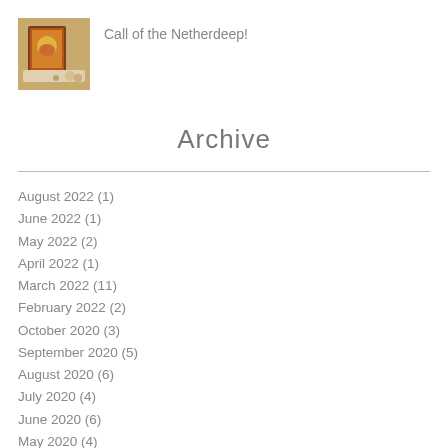[Figure (photo): Thumbnail image of a tabletop game scene, showing book and game pieces]
Call of the Netherdeep!
Archive
August 2022 (1)
June 2022 (1)
May 2022 (2)
April 2022 (1)
March 2022 (11)
February 2022 (2)
October 2020 (3)
September 2020 (5)
August 2020 (6)
July 2020 (4)
June 2020 (6)
May 2020 (4)